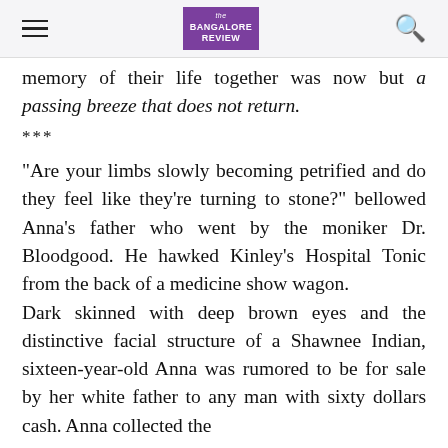the Bangalore Review
memory of their life together was now but a passing breeze that does not return.
***
“Are your limbs slowly becoming petrified and do they feel like they’re turning to stone?” bellowed Anna’s father who went by the moniker Dr. Bloodgood. He hawked Kinley’s Hospital Tonic from the back of a medicine show wagon.
Dark skinned with deep brown eyes and the distinctive facial structure of a Shawnee Indian, sixteen-year-old Anna was rumored to be for sale by her white father to any man with sixty dollars cash. Anna collected the